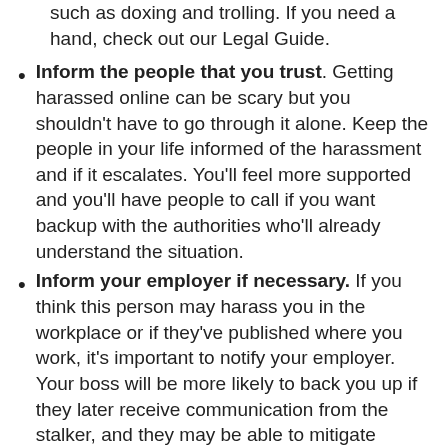such as doxing and trolling. If you need a hand, check out our Legal Guide.
Inform the people that you trust. Getting harassed online can be scary but you shouldn't have to go through it alone. Keep the people in your life informed of the harassment and if it escalates. You'll feel more supported and you'll have people to call if you want backup with the authorities who'll already understand the situation.
Inform your employer if necessary. If you think this person may harass you in the workplace or if they've published where you work, it's important to notify your employer. Your boss will be more likely to back you up if they later receive communication from the stalker, and they may be able to mitigate professional damage and providing evidence. Here's a great resource from Take Back the Tech! on how to talk to employers (about halfway down the page).
Clean up the damage. If your internet searches reveal